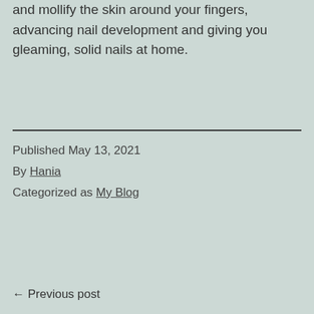and mollify the skin around your fingers, advancing nail development and giving you gleaming, solid nails at home.
Published May 13, 2021
By Hania
Categorized as My Blog
← Previous post